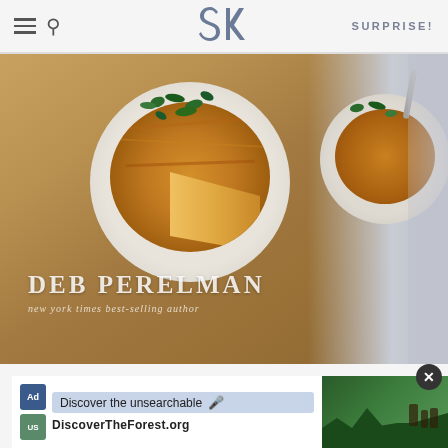SK — SURPRISE!
[Figure (photo): Book cover for a Deb Perelman cookbook showing a frittata or potato cake on a plate with greens, with text 'DEB PERELMAN' and 'new york times best-selling author' overlaid on the image, shown at an angle with spine visible]
AS AN AMAZON ASSOCIATE I EARN FROM QUALIFYING PURCHASES.
©2009–2022 SMITTEN KITCHEN. PROUDLY POWERED BY WORDPRESS. HOSTED BY PRESSABLE.
[Figure (screenshot): Advertisement banner for DiscoverTheForest.org showing 'Discover the unsearchable' text with microphone icon and photo of people in a forest]